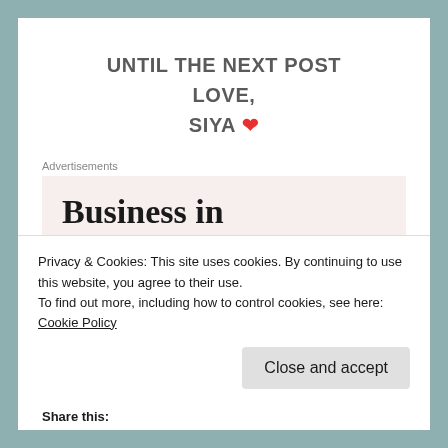UNTIL THE NEXT POST
LOVE,
SIYA ❤
Advertisements
[Figure (other): Advertisement banner showing 'Business in the front...' text with a WordPress gradient bar below containing the WordPress logo text]
Privacy & Cookies: This site uses cookies. By continuing to use this website, you agree to their use.
To find out more, including how to control cookies, see here: Cookie Policy
Close and accept
Share this: